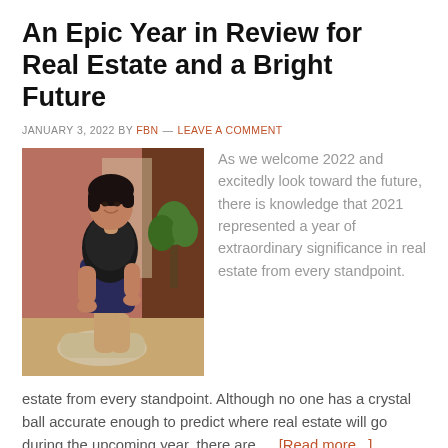An Epic Year in Review for Real Estate and a Bright Future
JANUARY 3, 2022 BY FBN — LEAVE A COMMENT
[Figure (photo): A woman in professional attire sitting in an office/lobby environment]
As we welcome 2022 and excitedly look toward the future, there is knowledge that 2021 represented a year of extraordinary significance in real estate from every standpoint. Although no one has a crystal ball accurate enough to predict where real estate will go during the upcoming year, there are … [Read more...]